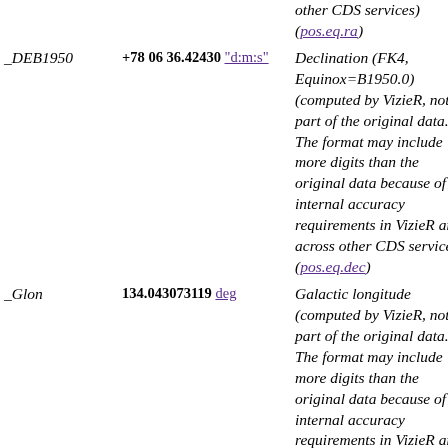| Name | Value | Description |
| --- | --- | --- |
| _DEB1950 | +78 06 36.42430 "d:m:s" | Declination (FK4, Equinox=B1950.0) (computed by VizieR, not part of the original data. The format may include more digits than the original data because of internal accuracy requirements in VizieR and across other CDS services) (pos.eq.dec) |
| _Glon | 134.043073119 deg | Galactic longitude (computed by VizieR, not part of the original data. The format may include more digits than the original data because of internal accuracy requirements in VizieR and across other CDS services) (pos.galactic.lon) |